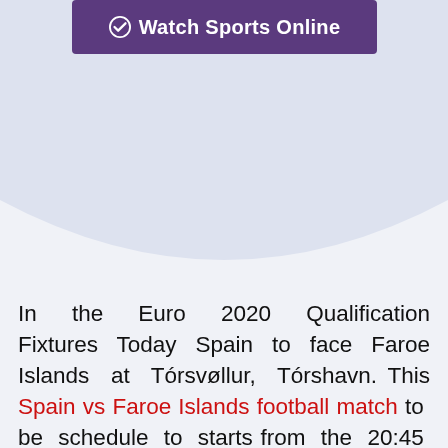[Figure (other): Purple banner button with checkmark icon and text 'Watch Sports Online']
In the Euro 2020 Qualification Fixtures Today Spain to face Faroe Islands at Tórsvøllur, Tórshavn. This Spain vs Faroe Islands football match to be schedule to starts from the 20:45 CEST time on 7 June but many football fans who